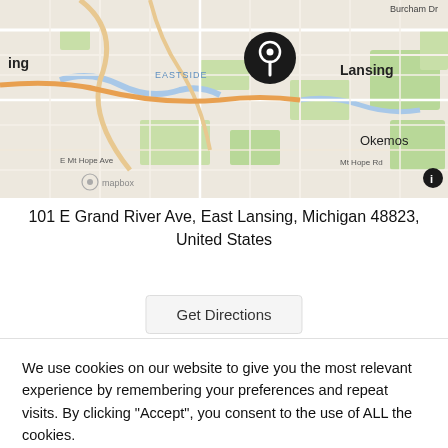[Figure (map): Mapbox map showing East Lansing, Michigan area with a location pin marker. Map shows streets including Burcham Dr, E Mt Hope Ave, Mt Hope Rd, and areas labeled EASTSIDE, Lansing, Okemos. A Mapbox logo and info button are visible.]
101 E Grand River Ave, East Lansing, Michigan 48823, United States
Get Directions
We use cookies on our website to give you the most relevant experience by remembering your preferences and repeat visits. By clicking “Accept”, you consent to the use of ALL the cookies.
Cookie settings
ACCEPT